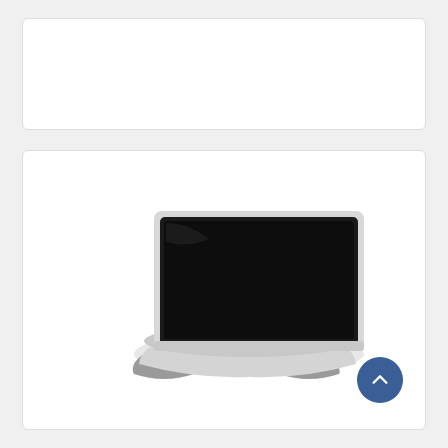[Figure (photo): White card placeholder area at top of page]
[Figure (photo): Product photo of Fellowes I-Spire white monitor stand with a flat-screen monitor placed on top. The stand is white with grey accents and a curved ergonomic shape.]
SUPPORTO MONITOR I-Spire BIANCO Fellowes